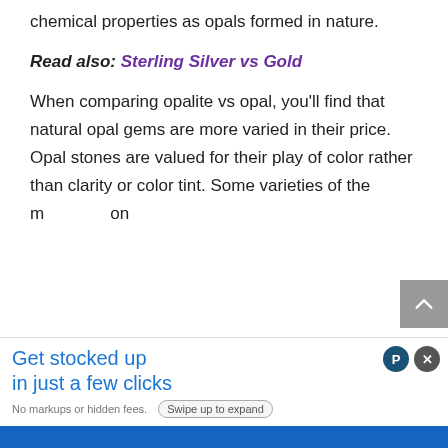chemical properties as opals formed in nature.
Read also: Sterling Silver vs Gold
When comparing opalite vs opal, you'll find that natural opal gems are more varied in their price. Opal stones are valued for their play of color rather than clarity or color tint. Some varieties of the m...on
[Figure (other): Advertisement overlay: 'Get stocked up in just a few clicks. No markups or hidden fees.' with Swipe up to expand button, close buttons, and blue bar at bottom.]